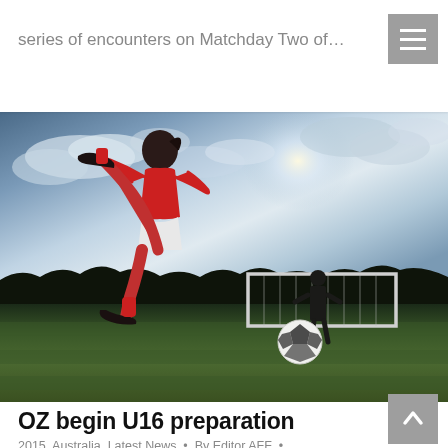series of encounters on Matchday Two of…
[Figure (photo): A soccer player in a red uniform kicking a ball on a field with a goal and goalkeeper in the background under a dramatic cloudy sky.]
OZ begin U16 preparation
2015, Australia, Latest News • By Editor AFF • February 18, 2015